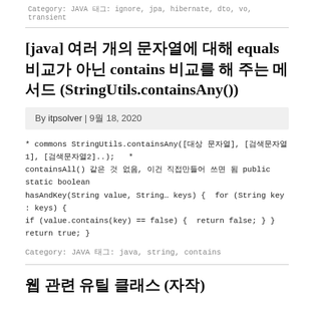Category: JAVA 태그: ignore, jpa, hibernate, dto, vo, transient
[java] 여러 개의 문자열에 대해 equals 비교가 아닌 contains 비교를 해 주는 메서드 (StringUtils.containsAny())
By itpsolver | 9월 18, 2020
* commons StringUtils.containsAny([대상 문자열], [검색문자열1], [검색문자열2]..);   * containsAll() 같은 것 없음, 이건 직접만들어 쓰면 됨 public static boolean hasAndKey(String value, String… keys) {  for (String key : keys) { if (value.contains(key) == false) { return false; } } return true; }
Category: JAVA 태그: java, string, contains
웹 관련 유틸 클래스 (자작)